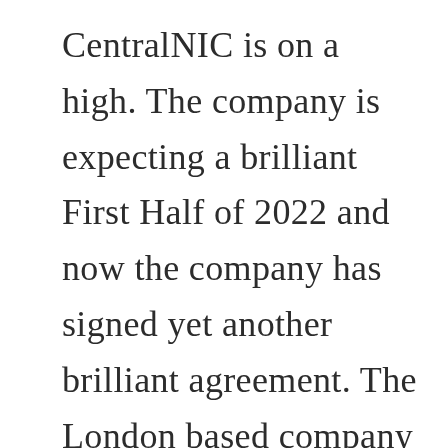CentralNIC is on a high. The company is expecting a brilliant First Half of 2022 and now the company has signed yet another brilliant agreement. The London based company has signed an agreement with Tusass A/S. The agreement gives